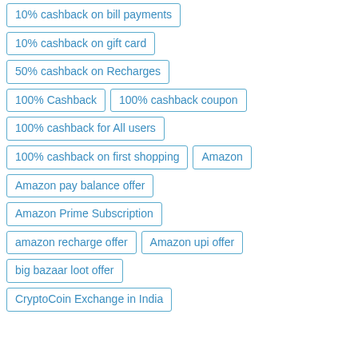10% cashback on bill payments
10% cashback on gift card
50% cashback on Recharges
100% Cashback
100% cashback coupon
100% cashback for All users
100% cashback on first shopping
Amazon
Amazon pay balance offer
Amazon Prime Subscription
amazon recharge offer
Amazon upi offer
big bazaar loot offer
CryptoCoin Exchange in India